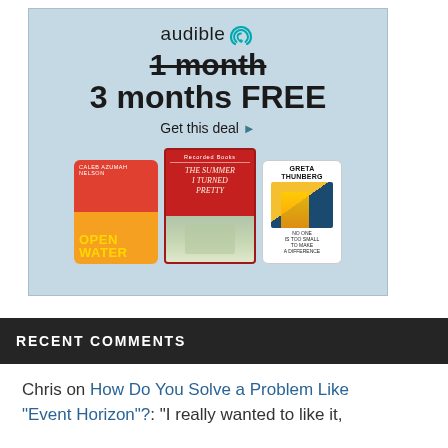[Figure (other): Audible advertisement banner showing '1 month' crossed out replaced by '3 months FREE' promotion with book covers for Open Water, The Summer I Turned Pretty, and Greta Thunberg's book]
RECENT COMMENTS
Chris on How Do You Solve a Problem Like "Event Horizon"?: "I really wanted to like it,